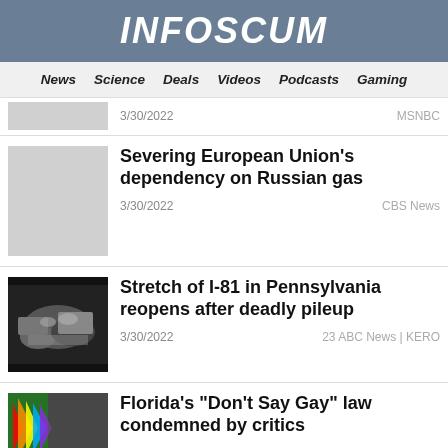INFOSCUM
News  Science  Deals  Videos  Podcasts  Gaming
3/30/2022  MSNBC
Severing European Union's dependency on Russian gas
3/30/2022  CBS News
Stretch of I-81 in Pennsylvania reopens after deadly pileup
3/30/2022  23 ABC News | KERO
Florida's "Don't Say Gay" law condemned by critics